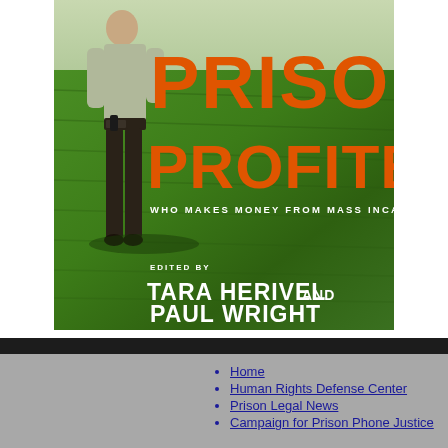[Figure (photo): Book cover of 'Prison Profiteers: Who Makes Money from Mass Incarceration', edited by Tara Herivel and Paul Wright. Shows a guard/officer figure standing on green grass, with large orange title text and white subtitle and author text.]
Home
Human Rights Defense Center
Prison Legal News
Campaign for Prison Phone Justice